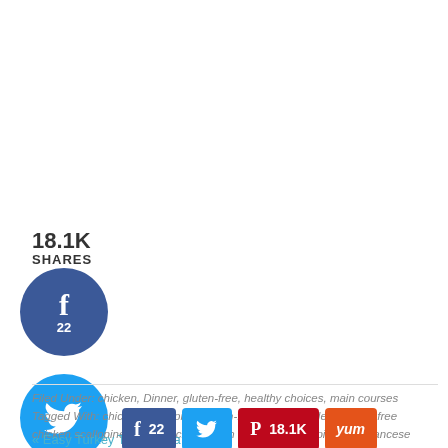18.1K SHARES
[Figure (infographic): Social share buttons: Facebook circle (22), Twitter circle, Pinterest circle (18.1K), Yummly circle. Horizontal share bar with Facebook (22), Twitter, Pinterest (18.1K), Yummly buttons.]
18.1K SHARES
Filed Under: chicken, Dinner, gluten-free, healthy choices, main courses
Tagged With: chicken scallopine, gluten-free chicken cutlets, gluten-free chicken scallopine, Italian recipe, lemon chicken, scaloppine alla Francese
« Easy Turkey Taco Pizza Recipe
[Figure (infographic): CoinFlip advertisement: CoinFlip Makes It So Flippin' Easy! Find An ATM Now.]